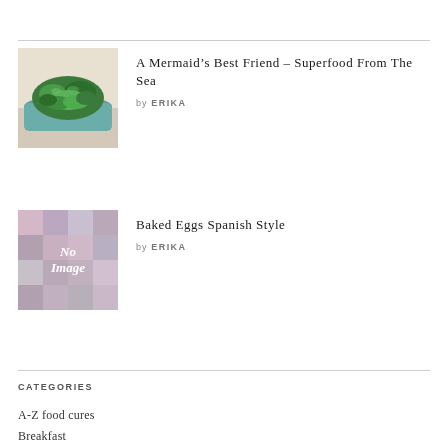[Figure (photo): Thumbnail of green seaweed salad in a blue-green bowl on a white plate]
A Mermaid’s Best Friend – Superfood From The Sea
by ERIKA
[Figure (photo): Placeholder image with pixelated blurred colors and white italic text reading 'No Image']
Baked Eggs Spanish Style
by ERIKA
CATEGORIES
A-Z food cures
Breakfast
Dessert